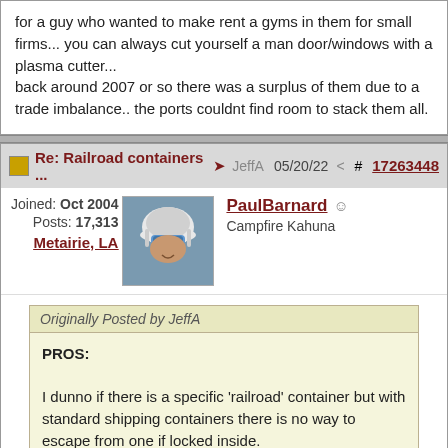for a guy who wanted to make rent a gyms in them for small firms... you can always cut yourself a man door/windows with a plasma cutter...
back around 2007 or so there was a surplus of them due to a trade imbalance.. the ports couldnt find room to stack them all.
Re: Railroad containers ... → JeffA  05/20/22  ⋮  #17263448
PaulBarnard
Campfire Kahuna
Joined: Oct 2004
Posts: 17,313
Metairie, LA
Originally Posted by JeffA
PROS:

I dunno if there is a specific 'railroad' container but with standard shipping containers there is no way to escape from one if locked inside.
There is a good bit of breathable air in one so a person has plenty of time to think about why they have been locked inside.

If left out in the direct summer sun they get hot inside quickly.
The heat can become so extreme it could shorten the life...